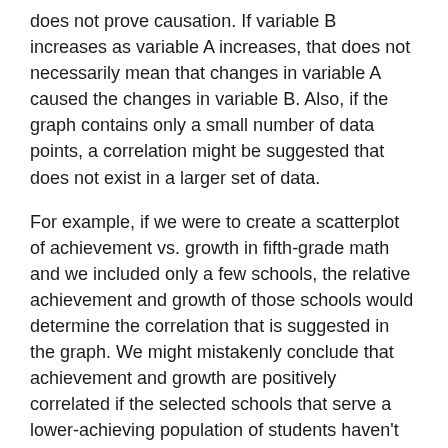does not prove causation. If variable B increases as variable A increases, that does not necessarily mean that changes in variable A caused the changes in variable B. Also, if the graph contains only a small number of data points, a correlation might be suggested that does not exist in a larger set of data.
For example, if we were to create a scatterplot of achievement vs. growth in fifth-grade math and we included only a few schools, the relative achievement and growth of those schools would determine the correlation that is suggested in the graph. We might mistakenly conclude that achievement and growth are positively correlated if the selected schools that serve a lower-achieving population of students haven't had great success in helping those students make growth, and the other schools serve a higher-achieving population of students and have had great success with student growth. In other words, we might believe that schools serving lower-achieving students cannot achieve high growth.
However, comparing only a few schools might not offer a fair